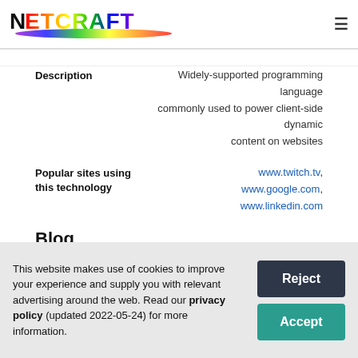Netcraft
Description
Widely-supported programming language commonly used to power client-side dynamic content on websites
Popular sites using this technology
www.twitch.tv, www.google.com, www.linkedin.com
Blog
Blog software is software designed to simplify
This website makes use of cookies to improve your experience and supply you with relevant advertising around the web. Read our privacy policy (updated 2022-05-24) for more information.